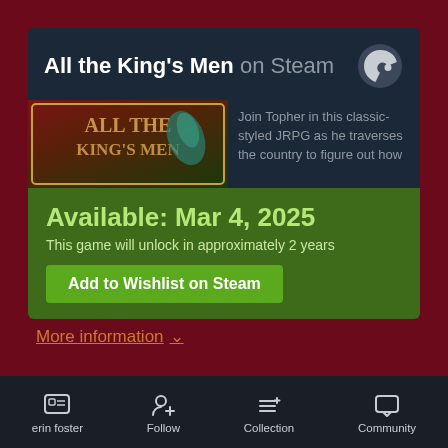All the King's Men on Steam
[Figure (screenshot): Steam store page for All the King's Men JRPG, showing game thumbnail with decorative text logo and a partial game description reading: Join Topher in this classic-styled JRPG as he traverses the country to figure out how]
Available: Mar 4, 2025
This game will unlock in approximately 2 years
Add to Wishlist on Steam
More information ∨
Community
Post first topic
erin foster   Follow   Collection   Community